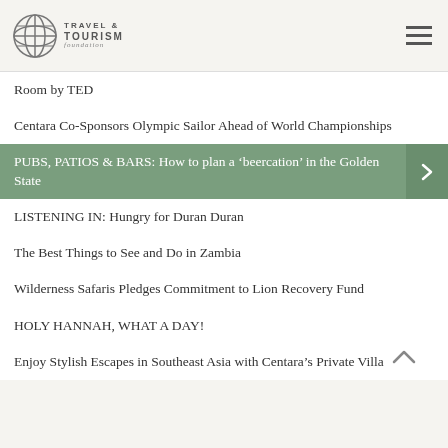Travel & Tourism Foundation
Room by TED
Centara Co-Sponsors Olympic Sailor Ahead of World Championships
PUBS, PATIOS & BARS: How to plan a ‘beercation’ in the Golden State
LISTENING IN: Hungry for Duran Duran
The Best Things to See and Do in Zambia
Wilderness Safaris Pledges Commitment to Lion Recovery Fund
HOLY HANNAH, WHAT A DAY!
Enjoy Stylish Escapes in Southeast Asia with Centara’s Private Villa